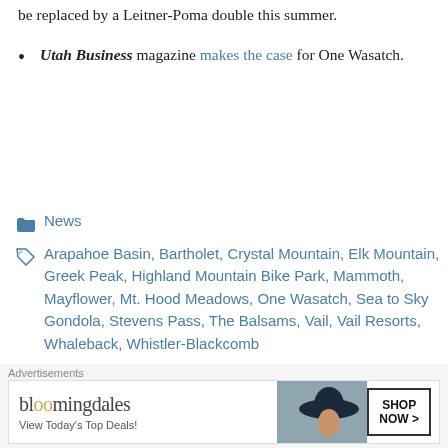be replaced by a Leitner-Poma double this summer.
Utah Business magazine makes the case for One Wasatch.
News
Arapahoe Basin, Bartholet, Crystal Mountain, Elk Mountain, Greek Peak, Highland Mountain Bike Park, Mammoth, Mayflower, Mt. Hood Meadows, One Wasatch, Sea to Sky Gondola, Stevens Pass, The Balsams, Vail, Vail Resorts, Whaleback, Whistler-Blackcomb
News Roundup: A Long
Advertisements